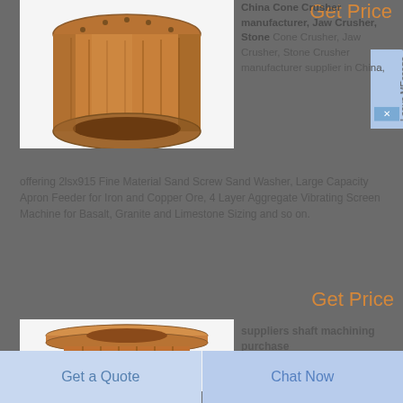Get Price
[Figure (photo): Bronze/copper cone crusher bushing, cylindrical metal component with vertical ridges]
China Cone Crusher manufacturer, Jaw Crusher, Stone Cone Crusher, Jaw Crusher, Stone Crusher manufacturer supplier in China, offering 2lsx915 Fine Material Sand Screw Sand Washer, Large Capacity Apron Feeder for Iron and Copper Ore, 4 Layer Aggregate Vibrating Screen Machine for Basalt, Granite and Limestone Sizing and so on.
Get Price
[Figure (photo): Bronze/copper mechanical part, flange-type bushing or sleeve component]
suppliers shaft machining purchase
Get a Quote
Chat Now